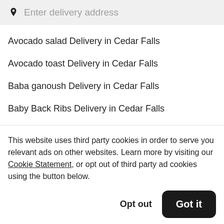Enter delivery address
Avocado salad Delivery in Cedar Falls
Avocado toast Delivery in Cedar Falls
Baba ganoush Delivery in Cedar Falls
Baby Back Ribs Delivery in Cedar Falls
This website uses third party cookies in order to serve you relevant ads on other websites. Learn more by visiting our Cookie Statement, or opt out of third party ad cookies using the button below.
Opt out
Got it